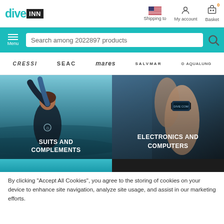[Figure (screenshot): Dive INN e-commerce website header with logo, shipping/account/basket icons, teal search bar with 'Search among 2022897 products', brand logos row (Cressi, Seac, Mares, Salvmar, Aqualung), category image panels for 'Suits and Complements' and 'Electronics and Computers', and cookie notice.]
By clicking “Accept All Cookies”, you agree to the storing of cookies on your device to enhance site navigation, analyze site usage, and assist in our marketing efforts.